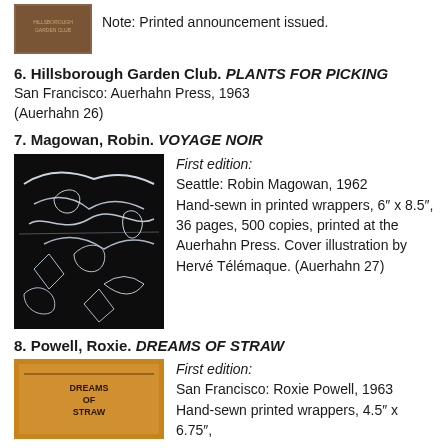[Figure (photo): Brown book cover thumbnail, partially visible at top of page]
Note: Printed announcement issued.
6. Hillsborough Garden Club. PLANTS FOR PICKING
San Francisco: Auerhahn Press, 1963
(Auerhahn 26)
7. Magowan, Robin. VOYAGE NOIR
[Figure (illustration): Black cover with white line art illustration of abstract figures]
First edition:
Seattle: Robin Magowan, 1962
Hand-sewn in printed wrappers, 6″ x 8.5″, 36 pages, 500 copies, printed at the Auerhahn Press. Cover illustration by Hervé Télémaque. (Auerhahn 27)
8. Powell, Roxie. DREAMS OF STRAW
[Figure (photo): Orange/tan book cover with text DREAMS OF STRAW]
First edition:
San Francisco: Roxie Powell, 1963
Hand-sewn printed wrappers, 4.5″ x 6.75″